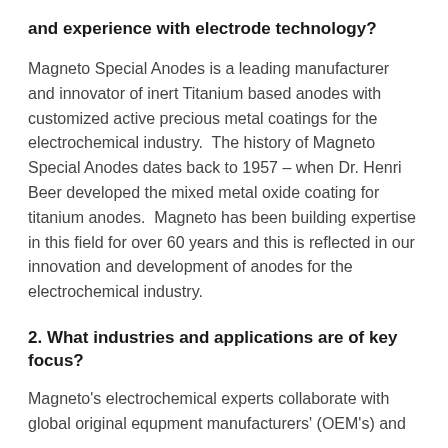and experience with electrode technology?
Magneto Special Anodes is a leading manufacturer and innovator of inert Titanium based anodes with customized active precious metal coatings for the electrochemical industry.  The history of Magneto Special Anodes dates back to 1957 – when Dr. Henri Beer developed the mixed metal oxide coating for titanium anodes.  Magneto has been building expertise in this field for over 60 years and this is reflected in our innovation and development of anodes for the electrochemical industry.
2. What industries and applications are of key focus?
Magneto's electrochemical experts collaborate with global original equpment manufacturers' (OEM's) and